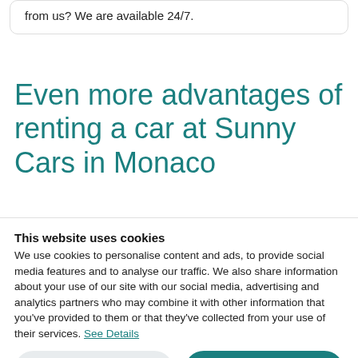from us? We are available 24/7.
Even more advantages of renting a car at Sunny Cars in Monaco
This website uses cookies
We use cookies to personalise content and ads, to provide social media features and to analyse our traffic. We also share information about your use of our site with our social media, advertising and analytics partners who may combine it with other information that you've provided to them or that they've collected from your use of their services. See Details
Use anonymous cookies only
Allow all cookies